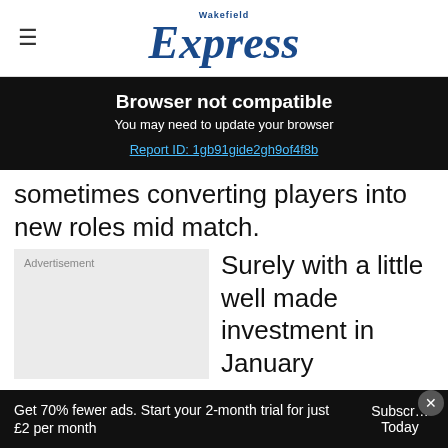Wakefield Express
Browser not compatible
You may need to update your browser
Report ID: 1gb91gide2gh9of4f8b
sometimes converting players into new roles mid match.
Surely with a little well made investment in January
Get 70% fewer ads. Start your 2-month trial for just £2 per month Subscribe Today